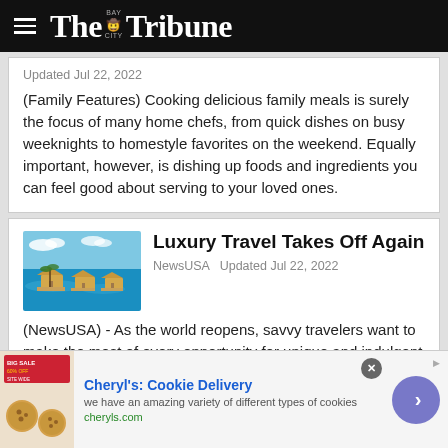The Bay City Tribune
Updated Jul 22, 2022
(Family Features) Cooking delicious family meals is surely the focus of many home chefs, from quick dishes on busy weeknights to homestyle favorites on the weekend. Equally important, however, is dishing up foods and ingredients you can feel good about serving to your loved ones.
[Figure (photo): Overwater bungalows on turquoise tropical water]
Luxury Travel Takes Off Again
NewsUSA  Updated Jul 22, 2022
(NewsUSA) - As the world reopens, savvy travelers want to make the most of every opportunity for unique and indulgent experiences.
Cheryl's: Cookie Delivery — we have an amazing variety of different types of cookies — cheryls.com